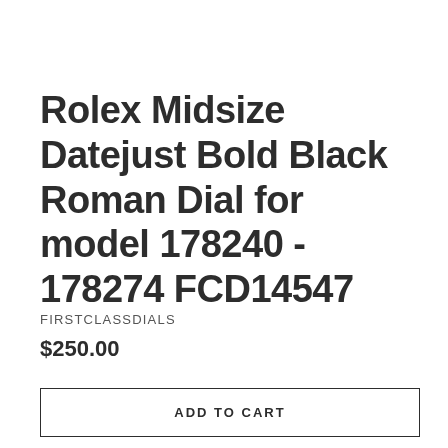Rolex Midsize Datejust Bold Black Roman Dial for model 178240 - 178274 FCD14547
FIRSTCLASSDIALS
$250.00
ADD TO CART